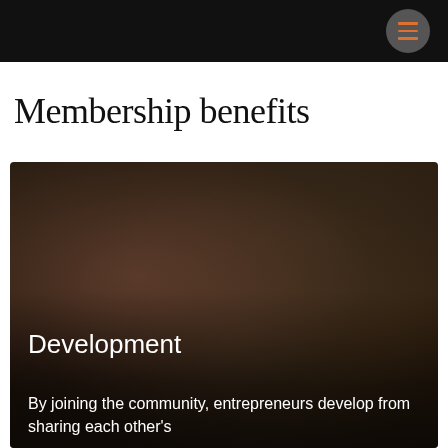Membership benefits
[Figure (photo): Blurred dark background photo of people at a community event, with overlaid text 'Development' and 'By joining the community, entrepreneurs develop from sharing each other's']
Development
By joining the community, entrepreneurs develop from sharing each other's